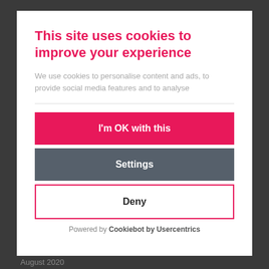This site uses cookies to improve your experience
We use cookies to personalise content and ads, to provide social media features and to analyse
I'm OK with this
Settings
Deny
Powered by Cookiebot by Usercentrics
August 2020